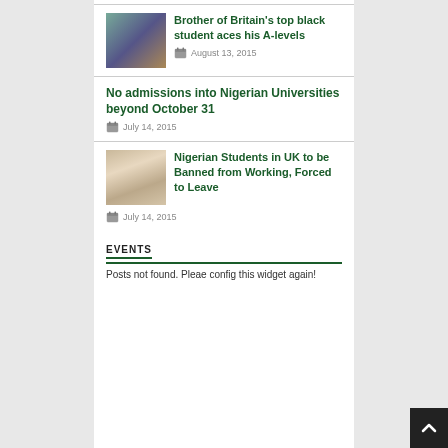[Figure (photo): Thumbnail photo of a young Black student holding a paper, smiling]
Brother of Britain's top black student aces his A-levels
August 13, 2015
No admissions into Nigerian Universities beyond October 31
July 14, 2015
[Figure (photo): Thumbnail photo of a woman with short blonde hair in a white jacket]
Nigerian Students in UK to be Banned from Working, Forced to Leave
July 14, 2015
EVENTS
Posts not found. Pleae config this widget again!